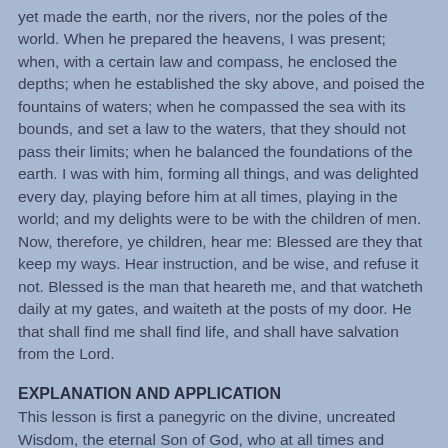yet made the earth, nor the rivers, nor the poles of the world. When he prepared the heavens, I was present; when, with a certain law and compass, he enclosed the depths; when he established the sky above, and poised the fountains of waters; when he compassed the sea with its bounds, and set a law to the waters, that they should not pass their limits; when he balanced the foundations of the earth. I was with him, forming all things, and was delighted every day, playing before him at all times, playing in the world; and my delights were to be with the children of men. Now, therefore, ye children, hear me: Blessed are they that keep my ways. Hear instruction, and be wise, and refuse it not. Blessed is the man that heareth me, and that watcheth daily at my gates, and waiteth at the posts of my door. He that shall find me shall find life, and shall have salvation from the Lord.
EXPLANATION AND APPLICATION
This lesson is first a panegyric on the divine, uncreated Wisdom, the eternal Son of God, who at all times and before all things was with God and in God, by whom was made everything that was made, ordered and preserved; who rejoices in His works, loves them, and who admonishes man